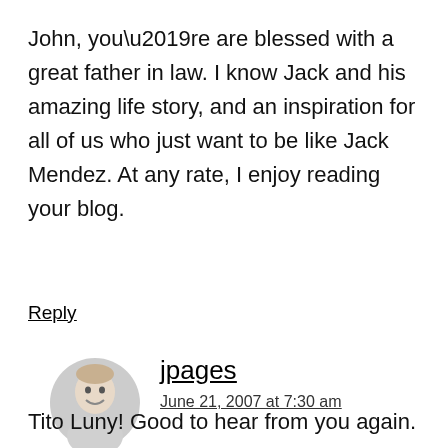John, you’re are blessed with a great father in law. I know Jack and his amazing life story, and an inspiration for all of us who just want to be like Jack Mendez. At any rate, I enjoy reading your blog.
Reply
jpages
June 21, 2007 at 7:30 am
Tito Luny! Good to hear from you again.